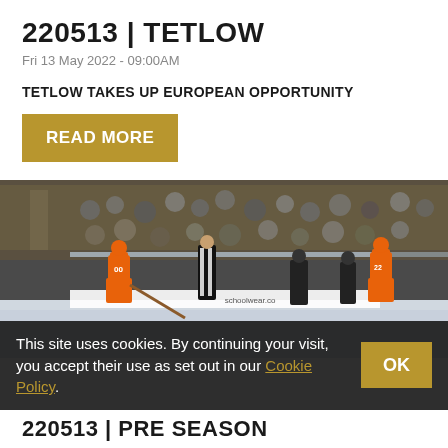220513 | TETLOW
Fri 13 May 2022 - 09:00AM
TETLOW TAKES UP EUROPEAN OPPORTUNITY
READ MORE
[Figure (photo): Ice hockey game scene showing players in orange uniforms and a referee on the rink, with crowd visible in the background behind glass]
This site uses cookies. By continuing your visit, you accept their use as set out in our Cookie Policy. OK
220513 | PRE SEASON